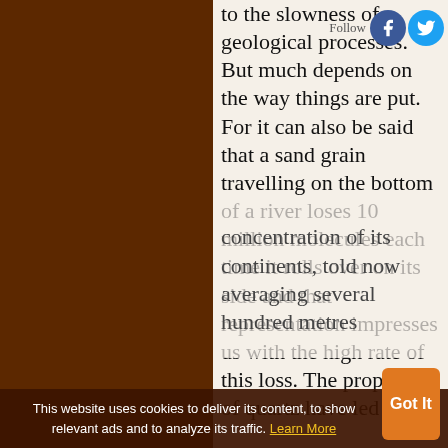to the slowness of geological processes. But much depends on the way things are put. For it can also be said that a sand grain travelling on the bottom of a river loses 10 million molecules each time it rolls over on its side and that representation impresses us with the high rate of this loss. The properties of quartz have led to the concentration of its continents, told now averaging several hundred metres
This website uses cookies to deliver its content, to show relevant ads and to analyze its traffic. Learn More Got It